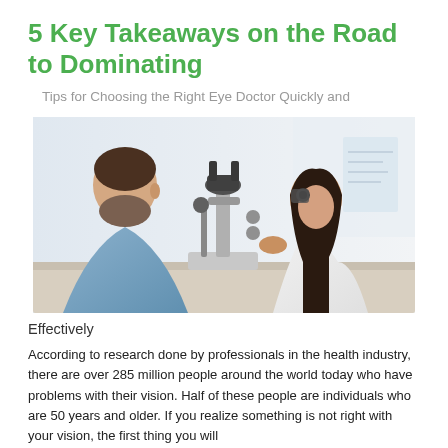5 Key Takeaways on the Road to Dominating
Tips for Choosing the Right Eye Doctor Quickly and
[Figure (photo): A female eye doctor in a white lab coat using a slit lamp ophthalmology microscope to examine a male patient's eyes in a clinical setting.]
Effectively
According to research done by professionals in the health industry, there are over 285 million people around the world today who have problems with their vision. Half of these people are individuals who are 50 years and older. If you realize something is not right with your vision, the first thing you will